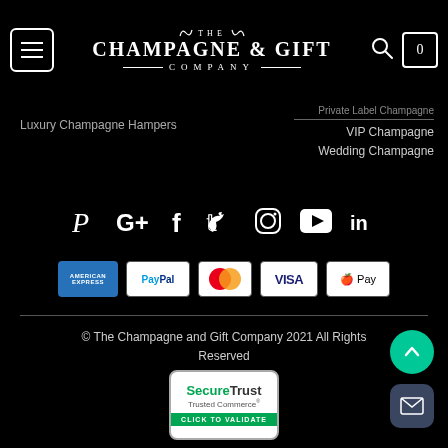[Figure (logo): The Champagne & Gift Company logo with menu button, search icon and cart icon at top]
Luxury Champagne Hampers
VIP Champagne
Wedding Champagne
[Figure (infographic): Social media icons row: Pinterest, Google+, Facebook, Twitter, Instagram, YouTube, LinkedIn]
[Figure (infographic): Payment icons: American Express, PayPal, Mastercard, VISA, Apple Pay]
© The Champagne and Gift Company 2021 All Rights Reserved
[Figure (infographic): SecureTrust Trusted Commerce - Click to Validate badge]